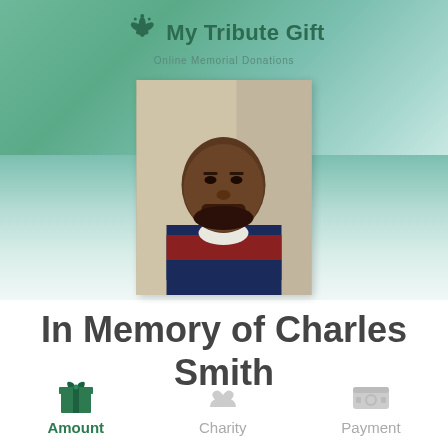[Figure (logo): My Tribute Gift logo with flower/snowflake icon and text 'My Tribute Gift - Online Memorial Donations']
[Figure (photo): Portrait photograph of Charles Smith, a man wearing a striped red and blue polo shirt with white collar]
In Memory of Charles Smith
[Figure (infographic): Three step icons at bottom: Amount (green gift box icon, active), Charity (grey heart/hand icon), Payment (grey money icon)]